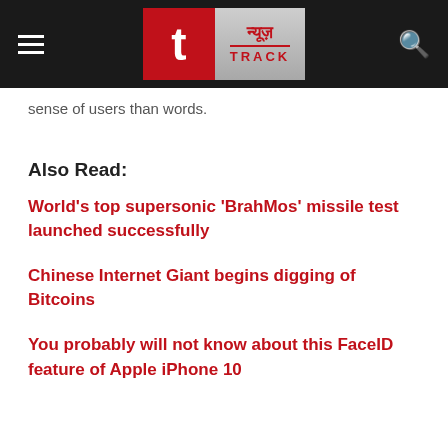News Track (न्यूज़ TRACK) logo header with hamburger menu and search icon
sense of users than words.
Also Read:
World's top supersonic 'BrahMos' missile test launched successfully
Chinese Internet Giant begins digging of Bitcoins
You probably will not know about this FaceID feature of Apple iPhone 10